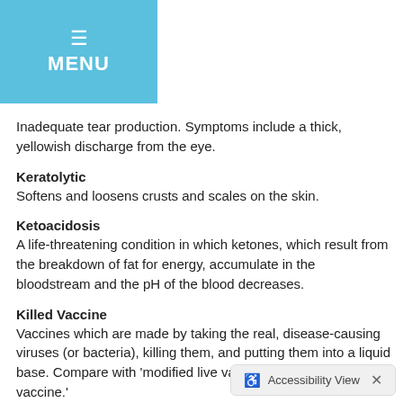MENU
Inadequate tear production. Symptoms include a thick, yellowish discharge from the eye.
Keratolytic
Softens and loosens crusts and scales on the skin.
Ketoacidosis
A life-threatening condition in which ketones, which result from the breakdown of fat for energy, accumulate in the bloodstream and the pH of the blood decreases.
Killed Vaccine
Vaccines which are made by taking the real, disease-causing viruses (or bacteria), killing them, and putting them into a liquid base. Compare with 'modified live vaccine' and 'recombinant vaccine.'
Kinetic Skull
Having mobile joints between various parts of the skull, e.g., being able to unhinge the jaws. This allows the mouth of the animal, e.g., snake, to open wider so that it can eat large prey.
Kit
A baby ferret.